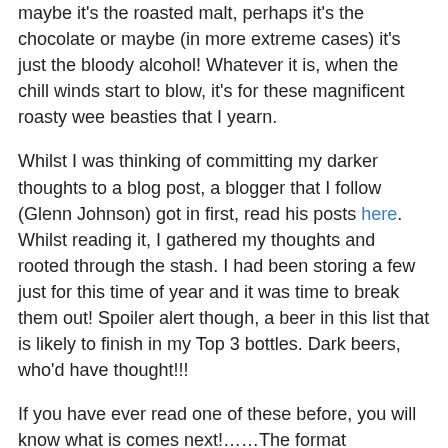maybe it's the roasted malt, perhaps it's the chocolate or maybe (in more extreme cases) it's just the bloody alcohol! Whatever it is, when the chill winds start to blow, it's for these magnificent roasty wee beasties that I yearn.
Whilst I was thinking of committing my darker thoughts to a blog post, a blogger that I follow (Glenn Johnson) got in first, read his posts here. Whilst reading it, I gathered my thoughts and rooted through the stash. I had been storing a few just for this time of year and it was time to break them out! Spoiler alert though, a beer in this list that is likely to finish in my Top 3 bottles. Dark beers, who'd have thought!!!
If you have ever read one of these before, you will know what is comes next!……The format remains….
1. The Beer, 2. The Brewer, 3. The Strength, 4. The beer